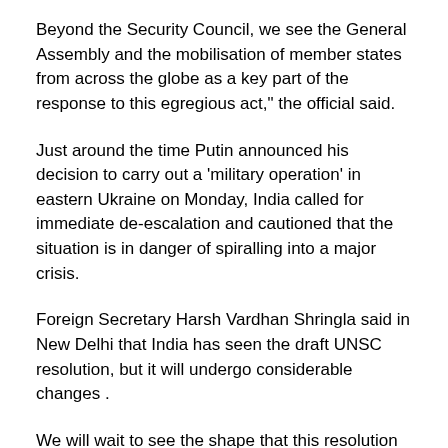Beyond the Security Council, we see the General Assembly and the mobilisation of member states from across the globe as a key part of the response to this egregious act," the official said.
Just around the time Putin announced his decision to carry out a 'military operation' in eastern Ukraine on Monday, India called for immediate de-escalation and cautioned that the situation is in danger of spiralling into a major crisis.
Foreign Secretary Harsh Vardhan Shringla said in New Delhi that India has seen the draft UNSC resolution, but it will undergo considerable changes .
We will wait to see the shape that this resolution takes before we can pronounce on India's position on the issue. It is an evolving situation both on the ground and in the United Nations, Shringla said.
During a telephone conversation with Putin on Thursday, Prime Minister Narendra Modi appealed for an immediate cessation of